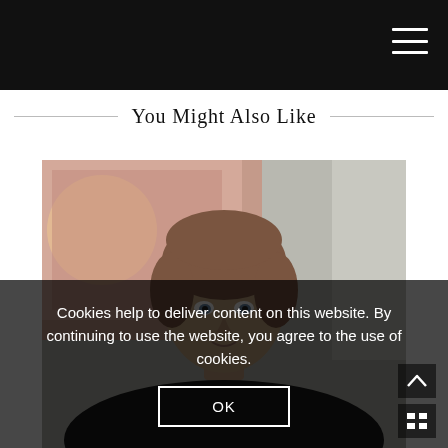You Might Also Like
[Figure (photo): Portrait photo of a middle-aged man with short brown hair, wearing a dark jacket, with an art piece visible in the background]
Cookies help to deliver content on this website. By continuing to use the website, you agree to the use of cookies.
OK